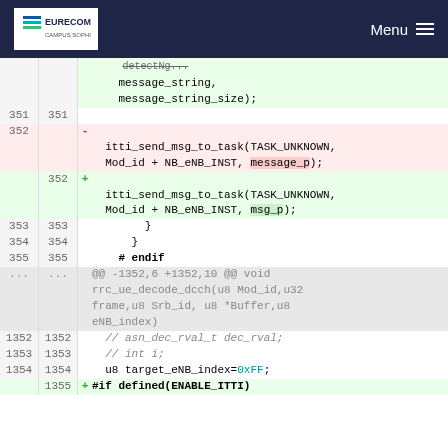EURECOM | Menu
[Figure (screenshot): Code diff view showing changes to C source file. Lines 351-355 and 1352-1355 shown. The diff replaces 'message_p' with 'msg_p' in itti_send_msg_to_task call, and adds #if defined(ENABLE_ITTI) at line 1355.]